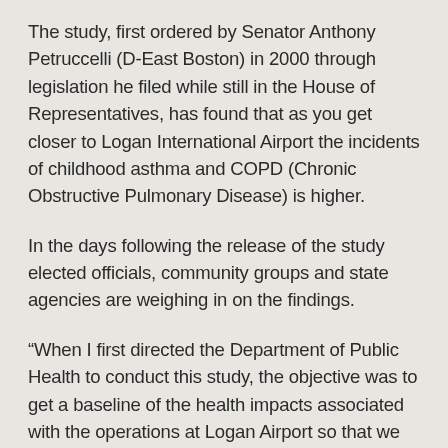The study, first ordered by Senator Anthony Petruccelli (D-East Boston) in 2000 through legislation he filed while still in the House of Representatives, has found that as you get closer to Logan International Airport the incidents of childhood asthma and COPD (Chronic Obstructive Pulmonary Disease) is higher.
In the days following the release of the study elected officials, community groups and state agencies are weighing in on the findings.
“When I first directed the Department of Public Health to conduct this study, the objective was to get a baseline of the health impacts associated with the operations at Logan Airport so that we could work as a community to create public health and environmental programs that would make a positive impact,” said Petruccelli. “Now that the study is